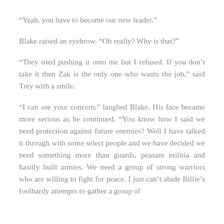“Yeah, you have to become our new leader.”
Blake raised an eyebrow. “Oh really? Why is that?”
“They tried pushing it onto me but I refused. If you don’t take it then Zak is the only one who wants the job,” said Trey with a smile.
“I can see your concern,” laughed Blake. His face became more serious as he continued. “You know how I said we need protection against future enemies? Well I have talked it through with some select people and we have decided we need something more than guards, peasant militia and hastily built armies. We need a group of strong warriors who are willing to fight for peace. I just can’t abide Billie’s foolhardy attempts to gather a group of